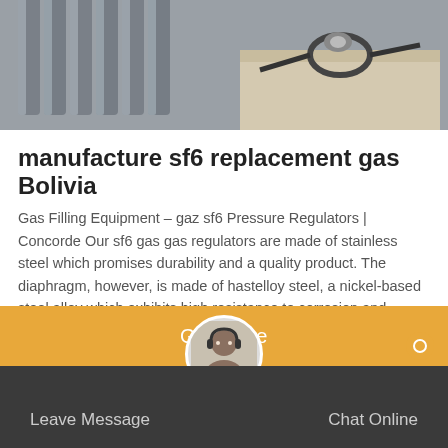[Figure (photo): Industrial gas cylinders and equipment, with tubes and cables visible]
manufacture sf6 replacement gas Bolivia
Gas Filling Equipment – gaz sf6 Pressure Regulators | Concorde Our sf6 gas gas regulators are made of stainless steel which promises durability and a quality product. The diaphragm, however, is made of hastelloy steel, a nickel-based steel alloy which exhibits high resistance to corrosion and oxidization. Hastelloy metal is widely regarded as one of the world's toughest alloys and benefits in the critical
Get Price
Leave Message    Chat Online